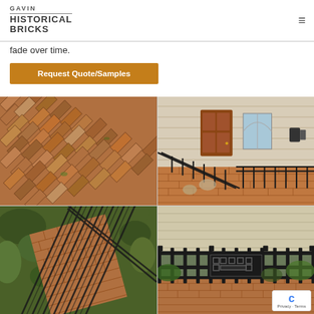Gavin Historical Bricks
fade over time.
Request Quote/Samples
[Figure (photo): Close-up of herringbone-patterned red and brown brick pavers]
[Figure (photo): Brick patio with black iron railings and wooden door entrance to house]
[Figure (photo): Aerial view of brick steps and pathway with black iron railings and garden]
[Figure (photo): Black iron fence with decorative pattern, brick patio visible behind fence]